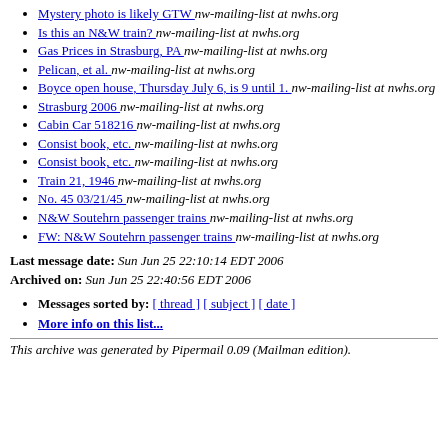Mystery photo is likely GTW  nw-mailing-list at nwhs.org
Is this an N&W train?  nw-mailing-list at nwhs.org
Gas Prices in Strasburg, PA  nw-mailing-list at nwhs.org
Pelican, et al.  nw-mailing-list at nwhs.org
Boyce open house, Thursday July 6, is 9 until 1.  nw-mailing-list at nwhs.org
Strasburg 2006  nw-mailing-list at nwhs.org
Cabin Car 518216  nw-mailing-list at nwhs.org
Consist book, etc.  nw-mailing-list at nwhs.org
Consist book, etc.  nw-mailing-list at nwhs.org
Train 21, 1946  nw-mailing-list at nwhs.org
No. 45 03/21/45  nw-mailing-list at nwhs.org
N&W Soutehrn passenger trains  nw-mailing-list at nwhs.org
FW: N&W Soutehrn passenger trains  nw-mailing-list at nwhs.org
Last message date: Sun Jun 25 22:10:14 EDT 2006
Archived on: Sun Jun 25 22:40:56 EDT 2006
Messages sorted by: [ thread ] [ subject ] [ date ]
More info on this list...
This archive was generated by Pipermail 0.09 (Mailman edition).